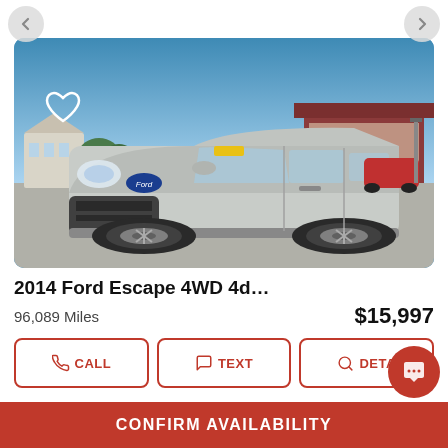[Figure (photo): Photo of a silver 2014 Ford Escape 4WD SUV parked at a car dealership lot on a sunny day, with buildings and other cars visible in background. A heart (favorite) icon is overlaid in the top-left of the image.]
2014 Ford Escape 4WD 4d…
96,089 Miles
$15,997
CALL
TEXT
DETAILS
CONFIRM AVAILABILITY